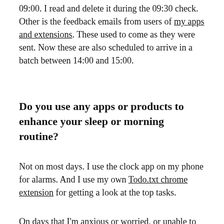09:00. I read and delete it during the 09:30 check. Other is the feedback emails from users of my apps and extensions. These used to come as they were sent. Now these are also scheduled to arrive in a batch between 14:00 and 15:00.
Do you use any apps or products to enhance your sleep or morning routine?
Not on most days. I use the clock app on my phone for alarms. And I use my own Todo.txt chrome extension for getting a look at the top tasks.
On days that I'm anxious or worried, or unable to sleep for any other reason, I use the sleep stories in Calm. They've been a valuable resource in helping myself calm down and sleep.